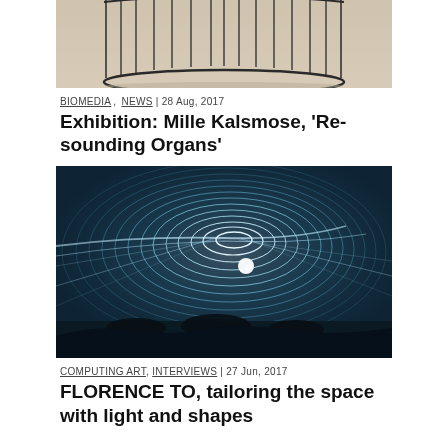[Figure (photo): Top portion of an art installation showing a circular wire/rod sculpture on a light beige floor, cropped at the top]
BIOMEDIA, NEWS | 28 Aug, 2017
Exhibition: Mille Kalsmose, 'Resounding Organs'
[Figure (photo): Large immersive light installation showing a spiral/tunnel of glowing white lines against a dark teal/blue background with silhouettes of people at the bottom]
COMPUTING ART, INTERVIEWS | 27 Jun, 2017
FLORENCE TO, tailoring the space with light and shapes